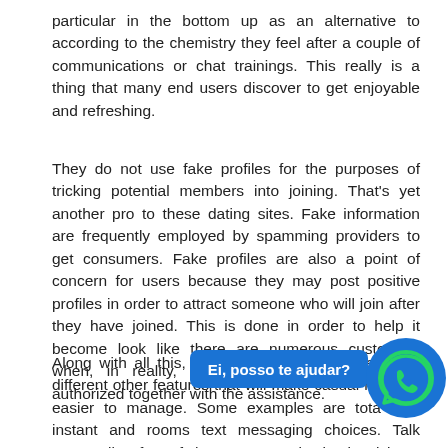particular in the bottom up as an alternative to according to the chemistry they feel after a couple of communications or chat trainings. This really is a thing that many end users discover to get enjoyable and refreshing.
They do not use fake profiles for the purposes of tricking potential members into joining. That's yet another pro to these dating sites. Fake information are frequently employed by spamming providers to get consumers. Fake profiles are also a point of concern for users because they may post positive profiles in order to attract someone who will join after they have joined. This is done in order to help it become look like there are numerous customers when, in reality, only some options are really authorized together with the assistance.
Along with all this, adult dating sites provide many different other features that will make casual ho even easier to manage. Some examples are tota chat instant and rooms text messaging choices. Talk rooms allow free of charge communication involving
[Figure (other): WhatsApp chat button overlay with blue circular icon and 'Ei, posso te ajudar?' label]